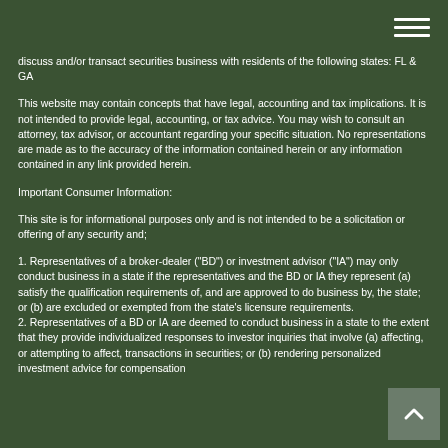discuss and/or transact securities business with residents of the following states: FL & GA
This website may contain concepts that have legal, accounting and tax implications. It is not intended to provide legal, accounting, or tax advice. You may wish to consult an attorney, tax advisor, or accountant regarding your specific situation. No representations are made as to the accuracy of the information contained herein or any information contained in any link provided herein.
Important Consumer Information:
This site is for informational purposes only and is not intended to be a solicitation or offering of any security and;
1. Representatives of a broker-dealer ("BD") or investment advisor ("IA") may only conduct business in a state if the representatives and the BD or IA they represent (a) satisfy the qualification requirements of, and are approved to do business by, the state; or (b) are excluded or exempted from the state's licensure requirements.
2. Representatives of a BD or IA are deemed to conduct business in a state to the extent that they provide individualized responses to investor inquiries that involve (a) affecting, or attempting to affect, transactions in securities; or (b) rendering personalized investment advice for compensation